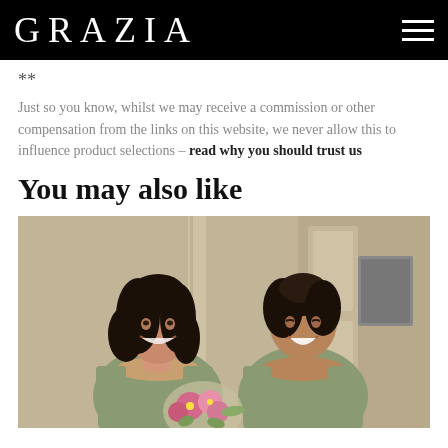GRAZIA
**
Just so you know, whilst we may receive a commission or other compensation from the links on this website, we never allow this to influence product selections – read why you should trust us
You may also like
[Figure (photo): Two bridesmaids in sage green strapless dresses smiling and laughing at each other, one holding a pink flower bouquet, indoor setting]